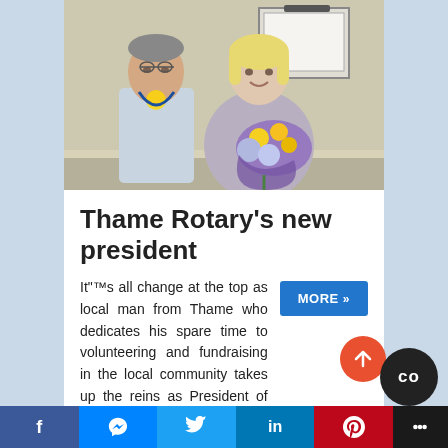[Figure (photo): Two people smiling together in a meeting room: an older man on the left wearing a blue/grey shirt with a Rotary chain/medal, and a blonde woman on the right holding a large bouquet of purple-wrapped flowers with yellow and blue blooms. A projector screen is visible in the background.]
Thame Rotary's new president
It"™s all change at the top as local man from Thame who dedicates his spare time to volunteering and fundraising in the local community takes up the reins as President of Rotary Club of Thame.
MORE »
Facebook | Messenger | Twitter | LinkedIn | Pinterest | More